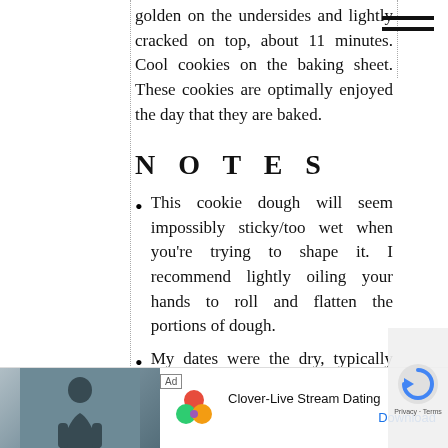golden on the undersides and lightly cracked on top, about 11 minutes. Cool cookies on the baking sheet. These cookies are optimally enjoyed the day that they are baked.
N O T E S
This cookie dough will seem impossibly sticky/too wet when you’re trying to shape it. I recommend lightly oiling your hands to roll and flatten the portions of dough.
My dates were the dry, typically cheaper, ones that you can find in the baking aisle. If you’re using extra soft and fresh Medjool dates, I’d only soak them for about 1 minute or so (or forego soaking entirely).
[Figure (other): Advertisement bar at bottom: photo of a woman, Clover-Live Stream Dating app ad with Download link, and reCAPTCHA logo]